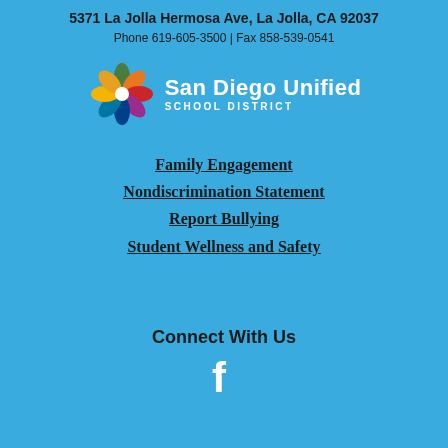5371 La Jolla Hermosa Ave, La Jolla, CA 92037
Phone 619-605-3500 | Fax 858-539-0541
[Figure (logo): San Diego Unified School District logo with colorful star/flower icon and white text]
Family Engagement
Nondiscrimination Statement
Report Bullying
Student Wellness and Safety
Connect With Us
[Figure (logo): Facebook logo icon in white]